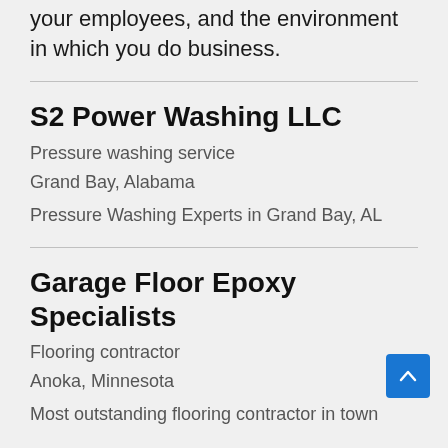your employees, and the environment in which you do business.
S2 Power Washing LLC
Pressure washing service
Grand Bay, Alabama
Pressure Washing Experts in Grand Bay, AL
Garage Floor Epoxy Specialists
Flooring contractor
Anoka, Minnesota
Most outstanding flooring contractor in town